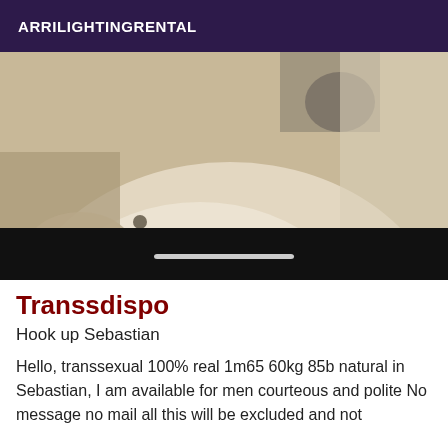ARRILIGHTINGRENTAL
[Figure (photo): A photograph showing a close-up view of what appears to be a bathroom or sink area with beige/cream tones, hands visible, dark objects in background, with a black bar at the bottom containing a scroll indicator.]
Transsdispo
Hook up Sebastian
Hello, transsexual 100% real 1m65 60kg 85b natural in Sebastian, I am available for men courteous and polite No message no mail all this will be excluded and not